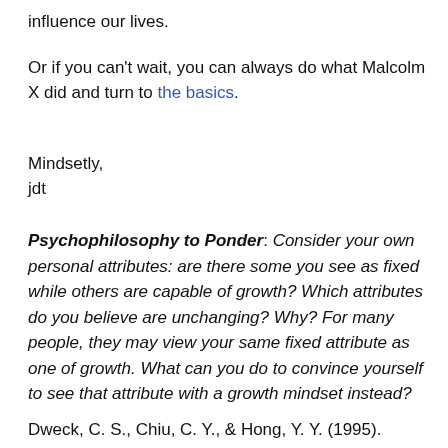influence our lives.
Or if you can't wait, you can always do what Malcolm X did and turn to the basics.
Mindsetly,
jdt
Psychophilosophy to Ponder: Consider your own personal attributes: are there some you see as fixed while others are capable of growth? Which attributes do you believe are unchanging? Why? For many people, they may view your same fixed attribute as one of growth. What can you do to convince yourself to see that attribute with a growth mindset instead?
Dweck, C. S., Chiu, C. Y., & Hong, Y. Y. (1995). Implicit